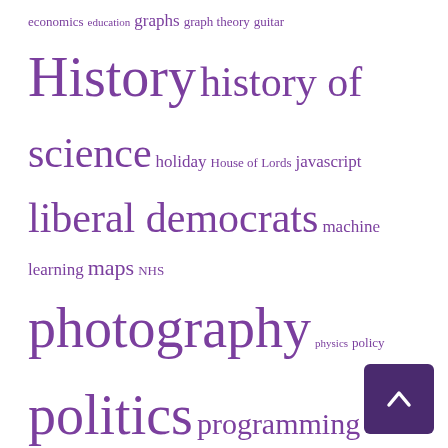[Figure (infographic): Tag cloud with various topics in purple, sizes indicating frequency: economics, education, graphs, graph theory, guitar (small); History, history of science (large); holiday, House of Lords, javascript (medium); liberal democrats (large); machine learning, maps, NHS (medium); photography (very large); physics, policy (small-medium); politics (very large); programming, Python, rant, review (large); Royal Society (large); science (very large); scraper (medium); scraperwiki (very large); skiing, SQL, technology (medium); testing, twitter, walking (small); women (medium); women (large); writers (large)]
CATEGORIES
Book Reviews (235)
Miscellaneous (72)
Politics (82)
Science (85)